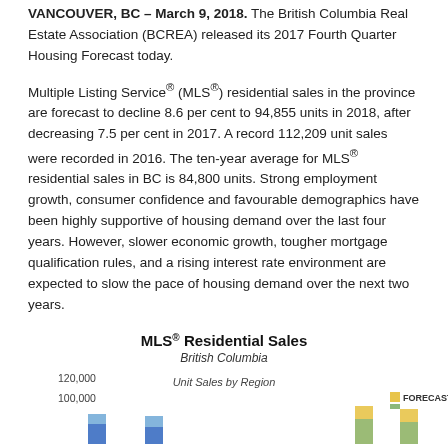VANCOUVER, BC – March 9, 2018. The British Columbia Real Estate Association (BCREA) released its 2017 Fourth Quarter Housing Forecast today.
Multiple Listing Service® (MLS®) residential sales in the province are forecast to decline 8.6 per cent to 94,855 units in 2018, after decreasing 7.5 per cent in 2017. A record 112,209 unit sales were recorded in 2016. The ten-year average for MLS® residential sales in BC is 84,800 units. Strong employment growth, consumer confidence and favourable demographics have been highly supportive of housing demand over the last four years. However, slower economic growth, tougher mortgage qualification rules, and a rising interest rate environment are expected to slow the pace of housing demand over the next two years.
[Figure (bar-chart): Stacked bar chart showing MLS Residential Sales in British Columbia by region, with forecast indicator. Y-axis shows up to 120,000 units. Partially visible at bottom of page.]